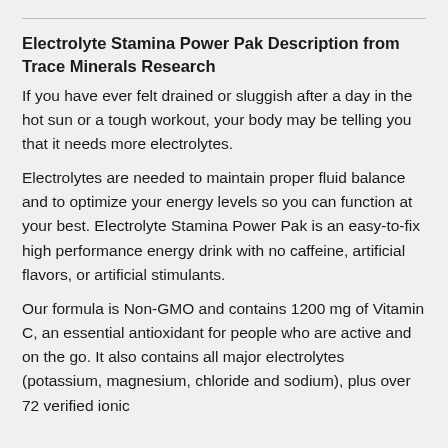Electrolyte Stamina Power Pak Description from Trace Minerals Research
If you have ever felt drained or sluggish after a day in the hot sun or a tough workout, your body may be telling you that it needs more electrolytes.
Electrolytes are needed to maintain proper fluid balance and to optimize your energy levels so you can function at your best. Electrolyte Stamina Power Pak is an easy-to-fix high performance energy drink with no caffeine, artificial flavors, or artificial stimulants.
Our formula is Non-GMO and contains 1200 mg of Vitamin C, an essential antioxidant for people who are active and on the go. It also contains all major electrolytes (potassium, magnesium, chloride and sodium), plus over 72 verified ionic